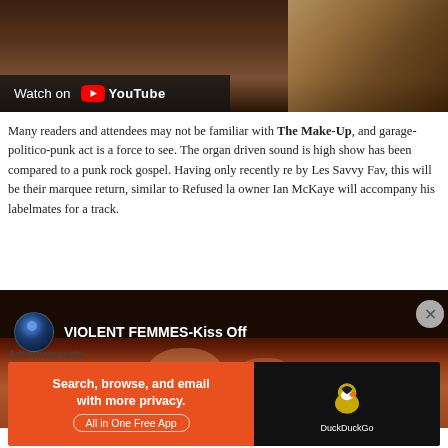[Figure (screenshot): YouTube video thumbnail with 'Watch on YouTube' overlay, showing a dark sepia-toned image with what appears to be a skull or animal skull in the upper right area]
Many readers and attendees may not be familiar with The Make-Up, and garage-politico-punk act is a force to see. The organ driven sound is high show has been compared to a punk rock gospel. Having only recently re by Les Savvy Fav, this will be their marquee return, similar to Refused la owner Ian McKaye will accompany his labelmates for a track.
[Figure (screenshot): YouTube video embed showing 'VIOLENT FEMMES-Kiss Off' with a circular channel icon showing a blue spotlight/concert visual, over a dark warm-toned crowd image]
Advertisements
[Figure (screenshot): DuckDuckGo advertisement banner: orange left side reading 'Search, browse, and email with more privacy. All in One Free App', black right side with DuckDuckGo duck logo]